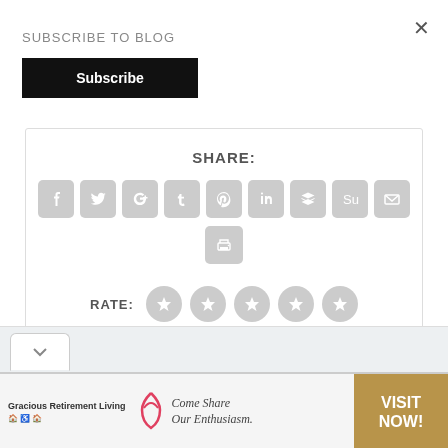×
SUBSCRIBE TO BLOG
Subscribe
[Figure (screenshot): Share buttons panel with social media icons (Facebook, Twitter, Google+, Tumblr, Pinterest, LinkedIn, Buffer, StumbleUpon, Email, Print) in grey rounded squares, followed by a RATE section with 5 grey star circles]
[Figure (screenshot): Bottom navigation chevron and advertisement banner for Gracious Retirement Living with heart logo and 'Come Share Our Enthusiasm.' tagline and 'VISIT NOW!' call-to-action button]